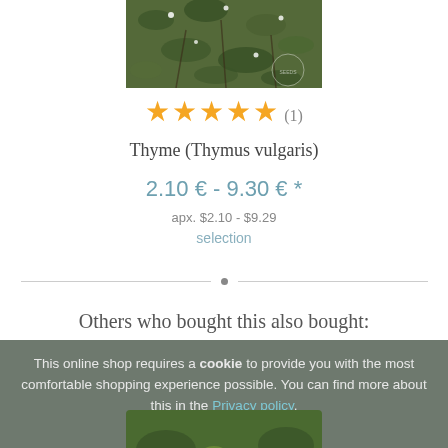[Figure (photo): Top portion of a thyme plant photograph, green and brown foliage]
★★★★★ (1)
Thyme (Thymus vulgaris)
2.10 € - 9.30 € *
apx. $2.10 - $9.29
selection
Others who bought this also bought:
[Figure (photo): Thyme plant product thumbnail visible behind cookie overlay]
This online shop requires a cookie to provide you with the most comfortable shopping experience possible. You can find more about this in the Privacy policy.